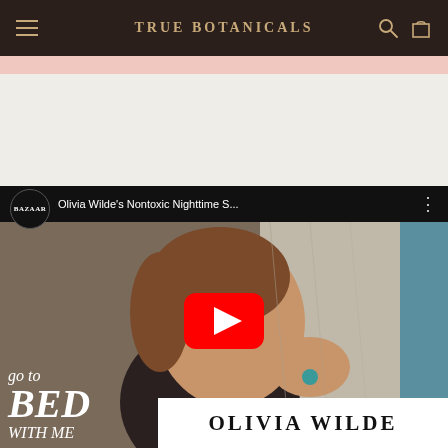TRUE BOTANICALS
[Figure (screenshot): YouTube video thumbnail showing Olivia Wilde touching her face in a beauty/skincare video from Harper's Bazaar. Video title: 'Olivia Wilde's Nontoxic Nighttime S...' with overlay text 'go to BED WITH ME' and 'OLIVIA WILDE' name banner. YouTube red play button centered on thumbnail.]